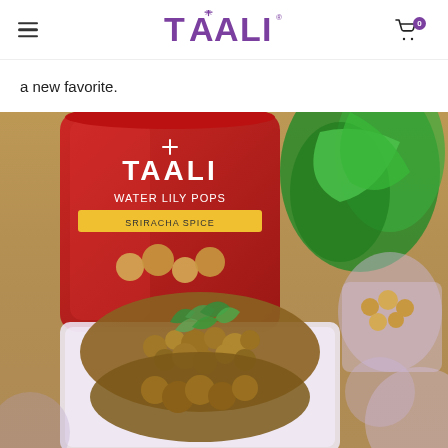TAALI — navigation header with hamburger menu, logo, and cart icon (0 items)
a new favorite.
[Figure (photo): Close-up photo of a dish with crispy coated food garnished with herbs in a white container. In the background is a red bag of Taali Water Lily Pops (Sriracha Spice flavor) and green vegetables and other food items on a table.]